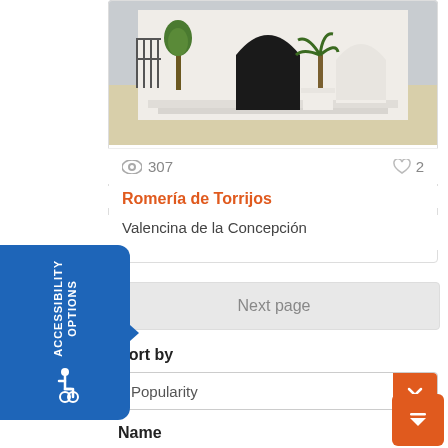[Figure (photo): Exterior photo of a white building with arched black doorways, trees, and a sandy courtyard — Romería de Torrijos]
307 views, 2 likes
Romería de Torrijos
Valencina de la Concepción
Next page
Sort by
Popularity
Name
ACCESSIBILITY OPTIONS